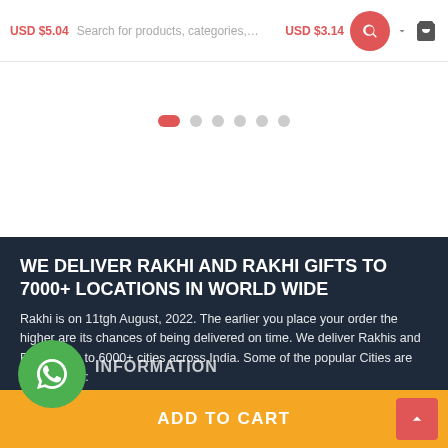USD $5.04  Search for products, categories,   USD $3.14
[Figure (screenshot): Carousel pagination dots: one filled red pill shape followed by five grey circles]
WE DELIVER RAKHI AND RAKHI GIFTS TO 7000+ LOCATIONS IN WORLD WIDE
Rakhi is on 11tgh August, 2022. The earlier you place your order the higher are its chances of being delivered on time. We deliver Rakhis and Rakhi Gifts to 6000+ cities across India. Some of the popular Cities are listed below:
[Figure (logo): Green circle WhatsApp icon button]
INFORMATION
About Us
ADD TO CART